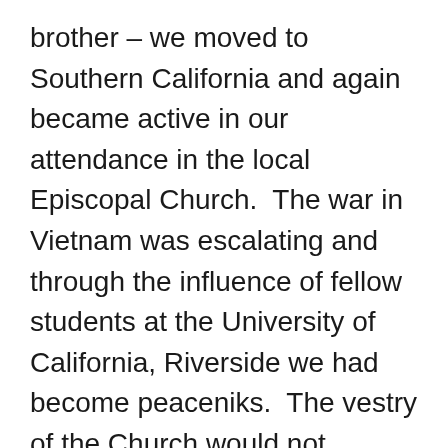brother – we moved to Southern California and again became active in our attendance in the local Episcopal Church.  The war in Vietnam was escalating and through the influence of fellow students at the University of California, Riverside we had become peaceniks.  The vestry of the Church would not support a resolution opposing the war, so we stopped going.  We abstained from attending services for about three years before we decided that we really missed it and we knew our three children needed that exposure.
Long story short, through several renewal